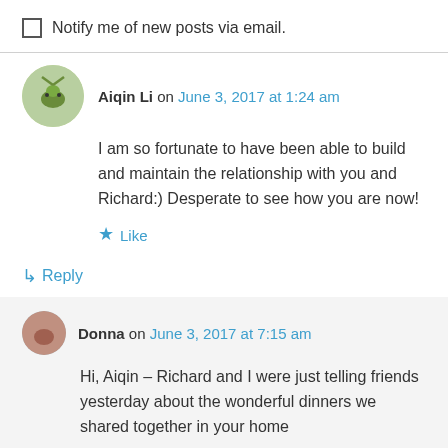Notify me of new posts via email.
Aiqin Li on June 3, 2017 at 1:24 am
I am so fortunate to have been able to build and maintain the relationship with you and Richard:) Desperate to see how you are now!
Like
Reply
Donna on June 3, 2017 at 7:15 am
Hi, Aiqin – Richard and I were just telling friends yesterday about the wonderful dinners we shared together in your home